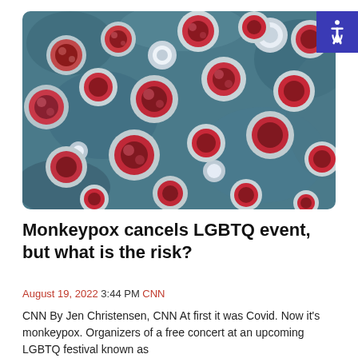[Figure (photo): Microscopic image of monkeypox virus particles — circular red and pink cells against a blue background, electron microscopy colorized]
Monkeypox cancels LGBTQ event, but what is the risk?
August 19, 2022 3:44 PM CNN
CNN By Jen Christensen, CNN At first it was Covid. Now it's monkeypox. Organizers of a free concert at an upcoming LGBTQ festival known as